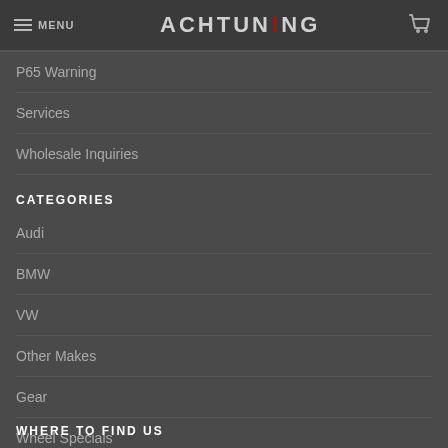MENU | ACHTUNING | Cart
P65 Warning
Services
Wholesale Inquiries
CATEGORIES
Audi
BMW
VW
Other Makes
Gear
Wheel Specials
WHERE TO FIND US